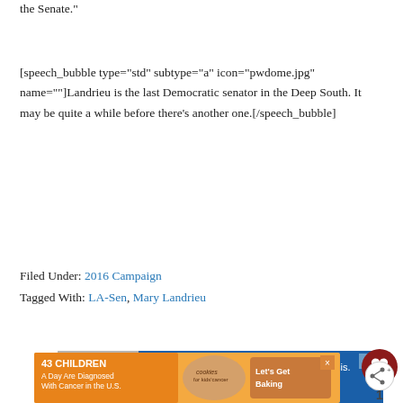the Senate."
[speech_bubble type="std" subtype="a" icon="pwdome.jpg" name=""]Landrieu is the last Democratic senator in the Deep South. It may be quite a while before there’s another one.[/speech_bubble]
Filed Under: 2016 Campaign
Tagged With: LA-Sen, Mary Landrieu
[Figure (screenshot): Advertisement banner: Blue background with family photo, text 'Give support to people recovering from crisis. Make a year-end donation.']
[Figure (screenshot): Advertisement banner: Orange/tan background with text '43 CHILDREN A Day Are Diagnosed With Cancer in the U.S.' and cookies for kids cancer logo with 'Let's Get Baking']